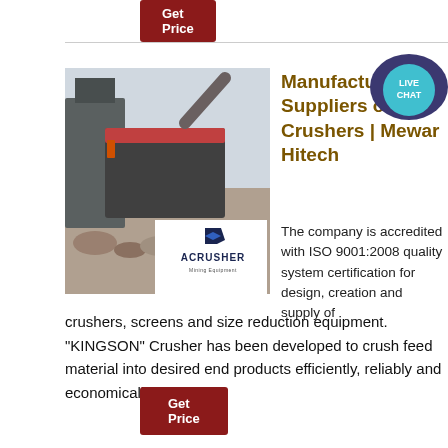Get Price
[Figure (photo): Photo of industrial crusher/mining equipment with ACRUSHER Mining Equipment logo overlay]
Manufacturer and Suppliers of Crushers | Mewar Hitech
The company is accredited with ISO 9001:2008 quality system certification for design, creation and supply of crushers, screens and size reduction equipment. "KINGSON" Crusher has been developed to crush feed material into desired end products efficiently, reliably and economically.
Get Price